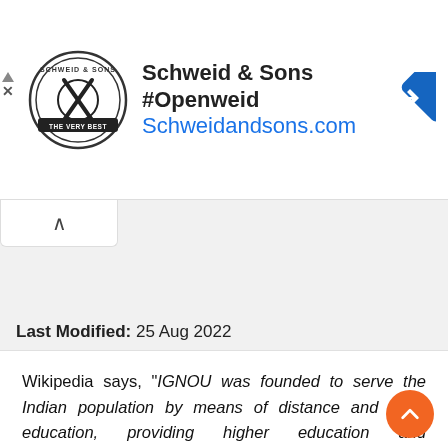[Figure (logo): Schweid & Sons circular logo with crossed utensils, 'THE VERY BEST' text banner]
Schweid & Sons #Openweid
Schweidandsons.com
[Figure (other): Blue diamond navigation arrow icon]
Last Modified: 25 Aug 2022
Wikipedia says, "IGNOU was founded to serve the Indian population by means of distance and open education, providing higher education and opportunities to all segments of society." The above statement cannot be refuted as IGNOU expanded as Indira Gandhi National Open